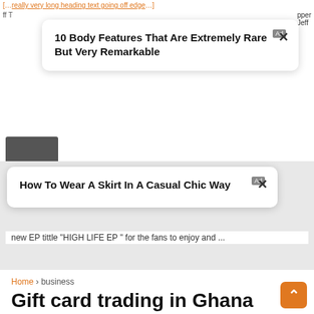new EP tittle "HIGH LIFE EP " for the fans to enjoy and ...
[Figure (infographic): Advertisement card 1: '10 Body Features That Are Extremely Rare But Very Remarkable' with Ad badge and close button]
[Figure (infographic): Advertisement card 2: 'How To Wear A Skirt In A Casual Chic Way' with Ad badge and close button]
Home › business
Gift card trading in Ghana made easy
By Arewapublisize - August 16, 2021  0